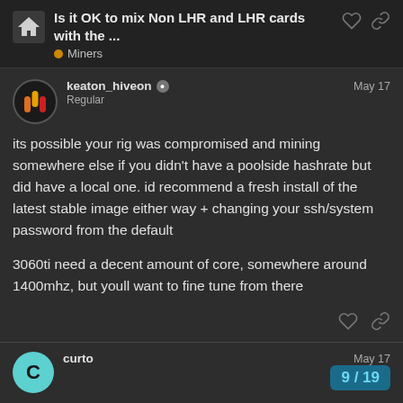Is it OK to mix Non LHR and LHR cards with the ...
Miners
keaton_hiveon Regular May 17
its possible your rig was compromised and mining somewhere else if you didn't have a poolside hashrate but did have a local one. id recommend a fresh install of the latest stable image either way + changing your ssh/system password from the default

3060ti need a decent amount of core, somewhere around 1400mhz, but youll want to fine tune from there
curto May 17
Definitely not compromised - i have 2fa an
9 / 19